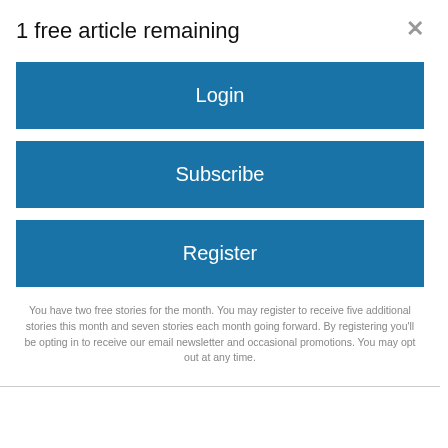1 free article remaining
Login
Subscribe
Register
You have two free stories for the month. You may register to receive five additional stories this month and seven stories each month going forward. By registering you'll be opting in to receive our email newsletter and occasional promotions. You may opt out at any time.
conservative group Cornerstone.
Critics had said that it would invite a flood of lawsuits and that the language around what constitutes discrimination is not adequately